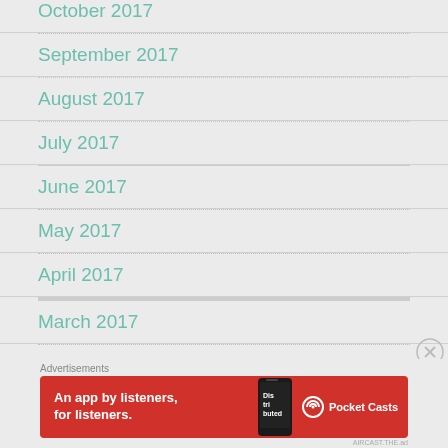October 2017
September 2017
August 2017
July 2017
June 2017
May 2017
April 2017
March 2017
February 2017
[Figure (screenshot): Red Pocket Casts advertisement banner: 'An app by listeners, for listeners.' with phone graphic and Pocket Casts logo]
Advertisements